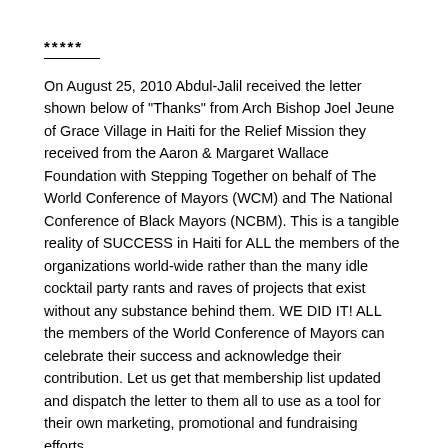*****
On August 25, 2010 Abdul-Jalil received the letter shown below of "Thanks" from Arch Bishop Joel Jeune of Grace Village in Haiti for the Relief Mission they received from the Aaron & Margaret Wallace Foundation with Stepping Together on behalf of The World Conference of Mayors (WCM) and The National Conference of Black Mayors (NCBM). This is a tangible reality of SUCCESS in Haiti for ALL the members of the organizations world-wide rather than the many idle cocktail party rants and raves of projects that exist without any substance behind them. WE DID IT! ALL the members of the World Conference of Mayors can celebrate their success and acknowledge their contribution. Let us get that membership list updated and dispatch the letter to them all to use as a tool for their own marketing, promotional and fundraising efforts.